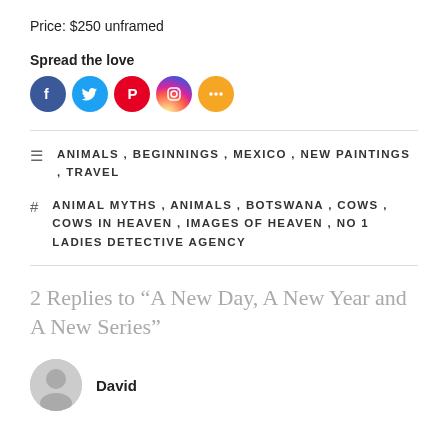Price: $250 unframed
Spread the love
[Figure (illustration): Five social media share buttons: Facebook (blue), Twitter (light blue), Pinterest (red), Instagram (gradient), More (orange)]
ANIMALS, BEGINNINGS, MEXICO, NEW PAINTINGS, TRAVEL
ANIMAL MYTHS, ANIMALS, BOTSWANA, COWS, COWS IN HEAVEN, IMAGES OF HEAVEN, NO 1 LADIES DETECTIVE AGENCY
2 Replies to “A New Day, A New Year and A New Series”
David